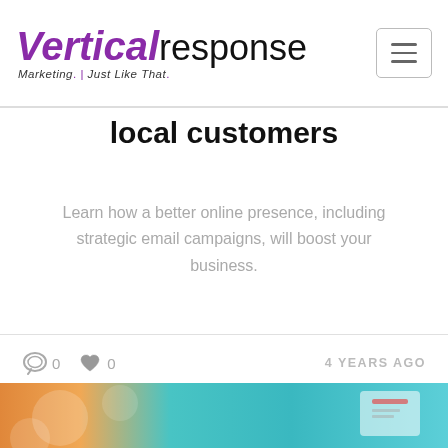[Figure (logo): VerticalResponse logo with tagline 'Marketing. Just Like That.']
local customers
Learn how a better online presence, including strategic email campaigns, will boost your business.
0  0  4 YEARS AGO
[Figure (photo): Photo of printed marketing materials including cards on a teal/orange background]